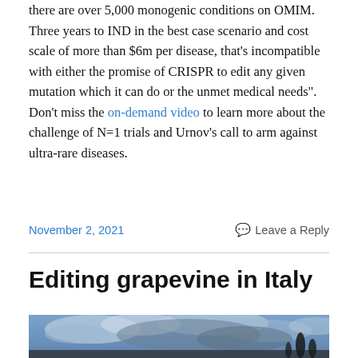there are over 5,000 monogenic conditions on OMIM. Three years to IND in the best case scenario and cost scale of more than $6m per disease, that's incompatible with either the promise of CRISPR to edit any given mutation which it can do or the unmet medical needs". Don't miss the on-demand video to learn more about the challenge of N=1 trials and Urnov's call to arm against ultra-rare diseases.
November 2, 2021   Leave a Reply
Editing grapevine in Italy
[Figure (photo): Landscape photo showing a cloudy sky with dark silhouettes of trees or cypress trees in the lower right, blue and grey tones, likely an Italian countryside scene.]